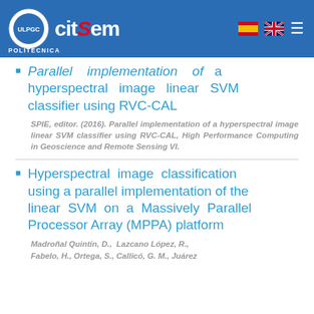citsem POLITÉCNICA
Parallel implementation of a hyperspectral image linear SVM classifier using RVC-CAL
SPIE, editor. (2016). Parallel implementation of a hyperspectral image linear SVM classifier using RVC-CAL, High Performance Computing in Geoscience and Remote Sensing VI.
Hyperspectral image classification using a parallel implementation of the linear SVM on a Massively Parallel Processor Array (MPPA) platform
Madroñal Quintín, D., Lazcano López, R., Fabelo, H., Ortega, S., Callicó, G. M., Juárez